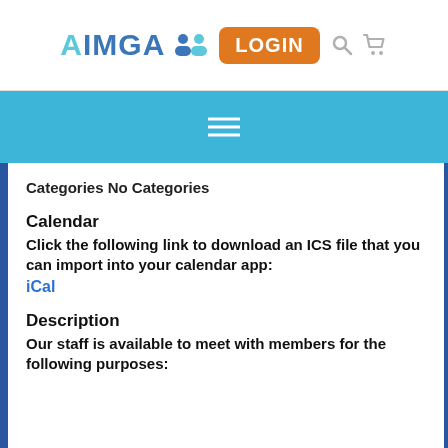AIMGA LOGIN
[Figure (screenshot): AIMGA website navigation bar with hamburger menu icon on blue background]
Categories No Categories
Calendar
Click the following link to download an ICS file that you can import into your calendar app: iCal
Description
Our staff is available to meet with members for the following purposes: